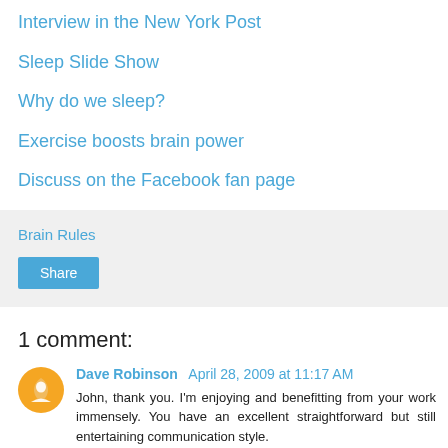Interview in the New York Post
Sleep Slide Show
Why do we sleep?
Exercise boosts brain power
Discuss on the Facebook fan page
Brain Rules
Share
1 comment:
Dave Robinson April 28, 2009 at 11:17 AM
John, thank you. I'm enjoying and benefitting from your work immensely. You have an excellent straightforward but still entertaining communication style.